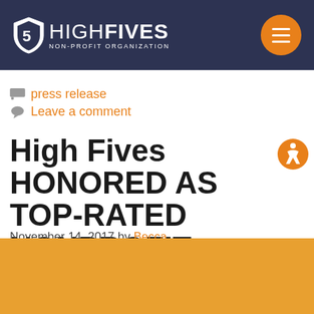HIGH FIVES NON-PROFIT ORGANIZATION
press release
Leave a comment
High Fives HONORED AS TOP-RATED NONPROFIT
November 14, 2017 by Becca